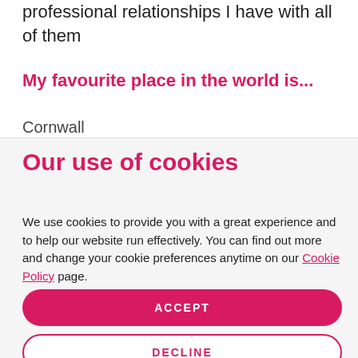professional relationships I have with all of them
My favourite place in the world is...
Cornwall
Our use of cookies
We use cookies to provide you with a great experience and to help our website run effectively. You can find out more and change your cookie preferences anytime on our Cookie Policy page.
ACCEPT
DECLINE